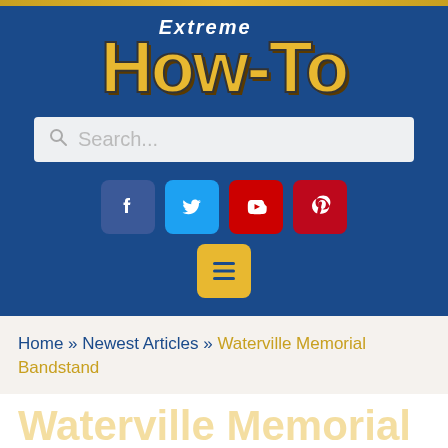[Figure (logo): Extreme How-To website logo with yellow text on blue background]
Search...
[Figure (infographic): Social media icons: Facebook, Twitter, YouTube, Pinterest, and a menu button]
Home » Newest Articles » Waterville Memorial Bandstand
Waterville Memorial Bandstand